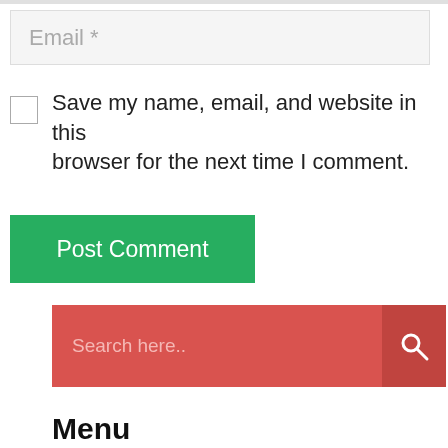Email *
Save my name, email, and website in this browser for the next time I comment.
Post Comment
Search here..
Menu